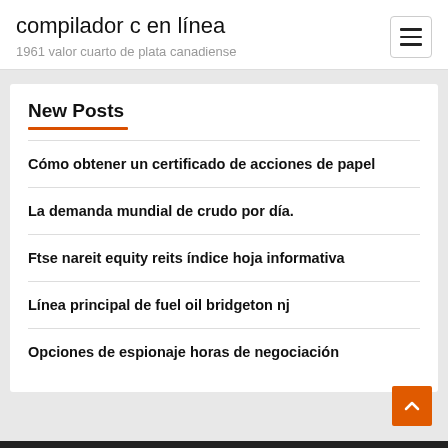compilador c en línea
1961 valor cuarto de plata canadiense
New Posts
Cómo obtener un certificado de acciones de papel
La demanda mundial de crudo por día.
Ftse nareit equity reits índice hoja informativa
Línea principal de fuel oil bridgeton nj
Opciones de espionaje horas de negociación